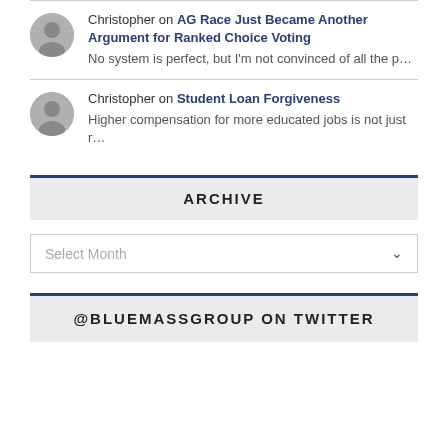Christopher on AG Race Just Became Another Argument for Ranked Choice Voting — No system is perfect, but I'm not convinced of all the p…
Christopher on Student Loan Forgiveness — Higher compensation for more educated jobs is not just r…
ARCHIVE
Select Month
@BLUEMASSGROUP ON TWITTER